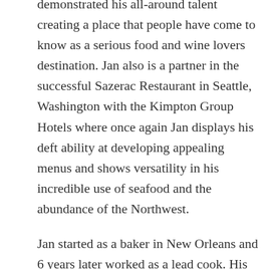demonstrated his all-around talent creating a place that people have come to know as a serious food and wine lovers destination. Jan also is a partner in the successful Sazerac Restaurant in Seattle, Washington with the Kimpton Group Hotels where once again Jan displays his deft ability at developing appealing menus and shows versatility in his incredible use of seafood and the abundance of the Northwest.
Jan started as a baker in New Orleans and 6 years later worked as a lead cook. His colorful career includes cooking with Chef Paul Prudhomme in 46 cities in 38 days during a book tour, becoming the Chef d Cuisine of the